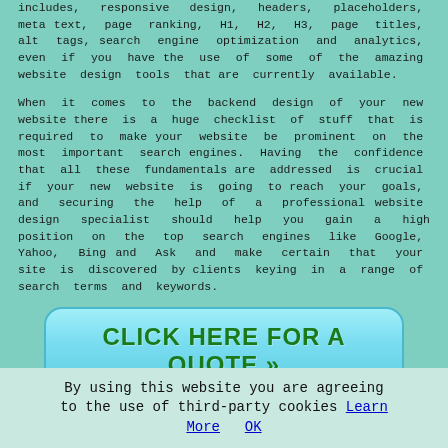includes, responsive design, headers, placeholders, meta text, page ranking, H1, H2, H3, page titles, alt tags, search engine optimization and analytics, even if you have the use of some of the amazing website design tools that are currently available.
When it comes to the backend design of your new website there is a huge checklist of stuff that is required to make your website be prominent on the most important search engines. Having the confidence that all these fundamentals are addressed is crucial if your new website is going to reach your goals, and securing the help of a professional website design specialist should help you gain a high position on the top search engines like Google, Yahoo, Bing and Ask and make certain that your site is discovered by clients keying in a range of search terms and keywords.
[Figure (other): Call-to-action button with text CLICK HERE FOR A QUOTE >>]
The use of an established web development service in Godstone, will also mitigate any infringements of copyright
By using this website you are agreeing to the use of third-party cookies Learn More OK